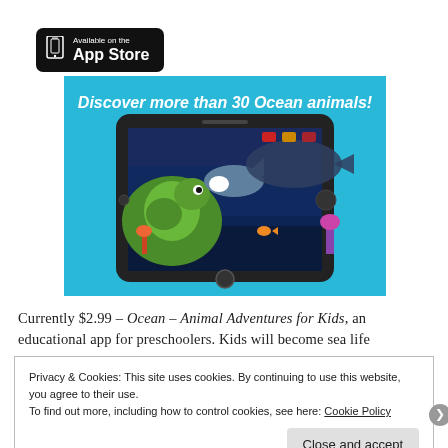[Figure (logo): Available on the App Store badge — black rounded rectangle with Apple device icon and text 'Available on the App Store']
[Figure (screenshot): App screenshot showing an ocean scene with animated sea turtle, shark, whale and other sea creatures. Text banner reads 'Discover more than 30 Ocean animals!' on a cyan background. Displayed on a smartphone mockup.]
Currently $2.99 – Ocean – Animal Adventures for Kids, an educational app for preschoolers. Kids will become sea life
Privacy & Cookies: This site uses cookies. By continuing to use this website, you agree to their use.
To find out more, including how to control cookies, see here: Cookie Policy
Close and accept